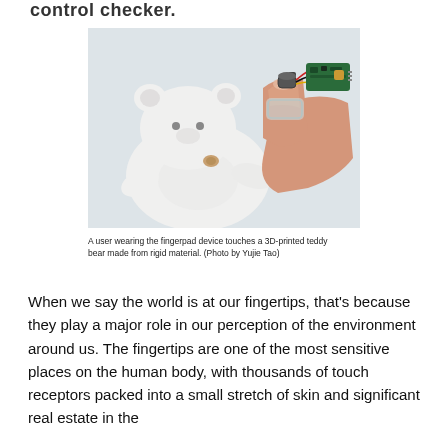control checker.
[Figure (photo): A user wearing a fingerpad device on their index finger touches a 3D-printed white teddy bear made from rigid material. The device has electronic components visible on top including a small motor and circuit board.]
A user wearing the fingerpad device touches a 3D-printed teddy bear made from rigid material. (Photo by Yujie Tao)
When we say the world is at our fingertips, that's because they play a major role in our perception of the environment around us. The fingertips are one of the most sensitive places on the human body, with thousands of touch receptors packed into a small stretch of skin and significant real estate in the